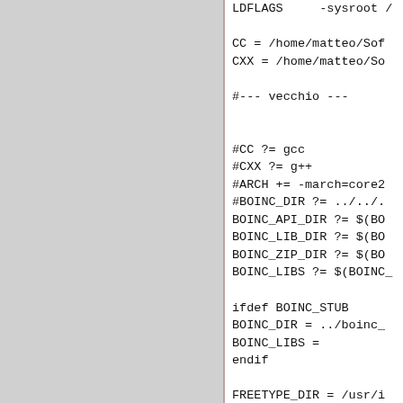[Figure (other): Left grey sidebar panel]
LDFLAGS     -sysroot /

CC = /home/matteo/Sof
CXX = /home/matteo/So

#--- vecchio ---


#CC ?= gcc
#CXX ?= g++
#ARCH += -march=core2
#BOINC_DIR ?= ../../.
BOINC_API_DIR ?= $(BO
BOINC_LIB_DIR ?= $(BO
BOINC_ZIP_DIR ?= $(BO
BOINC_LIBS ?= $(BOINC_

ifdef BOINC_STUB
BOINC_DIR = ../boinc_
BOINC_LIBS =
endif

FREETYPE_DIR = /usr/i
CPPFLAGS += -I$(BOINC
#CFLAGS += -c -O3 $(A
#CXXFLAGS   CXIFLAGS